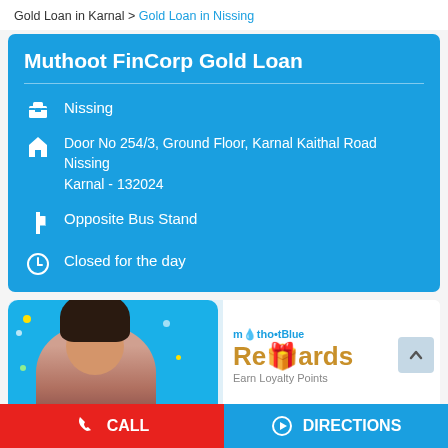Gold Loan in Karnal > Gold Loan in Nissing
Muthoot FinCorp Gold Loan
Nissing
Door No 254/3, Ground Floor, Karnal Kaithal Road Nissing Karnal - 132024
Opposite Bus Stand
Closed for the day
[Figure (photo): Promotional banner showing a smiling woman with muthootBlue Rewards logo and 'Earn Loyalty Points' tagline]
CALL
DIRECTIONS